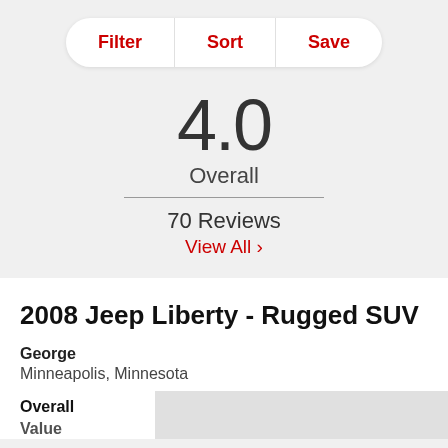[Figure (screenshot): Filter, Sort, Save navigation bar with white pill-shaped background]
4.0
Overall
70 Reviews
View All >
2008 Jeep Liberty - Rugged SUV
George
Minneapolis, Minnesota
Overall   4.0
Value   4.0